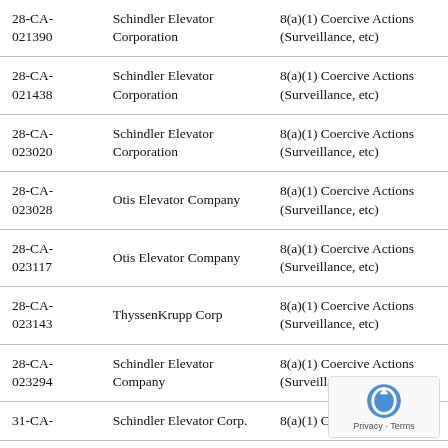| Case Number | Respondent | Allegation |
| --- | --- | --- |
| 28-CA-021390 | Schindler Elevator Corporation | 8(a)(1) Coercive Actions (Surveillance, etc) |
| 28-CA-021438 | Schindler Elevator Corporation | 8(a)(1) Coercive Actions (Surveillance, etc) |
| 28-CA-023020 | Schindler Elevator Corporation | 8(a)(1) Coercive Actions (Surveillance, etc) |
| 28-CA-023028 | Otis Elevator Company | 8(a)(1) Coercive Actions (Surveillance, etc) |
| 28-CA-023117 | Otis Elevator Company | 8(a)(1) Coercive Actions (Surveillance, etc) |
| 28-CA-023143 | ThyssenKrupp Corp | 8(a)(1) Coercive Actions (Surveillance, etc) |
| 28-CA-023294 | Schindler Elevator Company | 8(a)(1) Coercive Actions (Surveillance, etc) |
| 31-CA- | Schindler Elevator Corp. | 8(a)(1) Coercive |